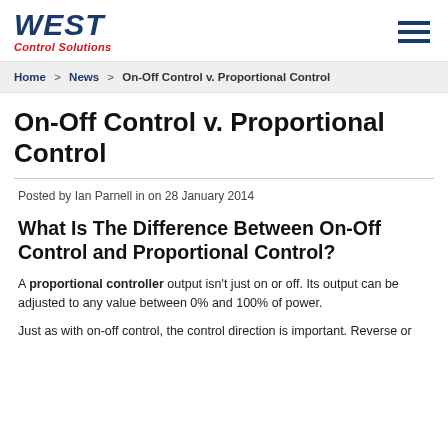WEST Control Solutions
Home > News > On-Off Control v. Proportional Control
On-Off Control v. Proportional Control
Posted by Ian Parnell in on 28 January 2014
What Is The Difference Between On-Off Control and Proportional Control?
A proportional controller output isn't just on or off. Its output can be adjusted to any value between 0% and 100% of power.
Just as with on-off control, the control direction is important. Reverse or